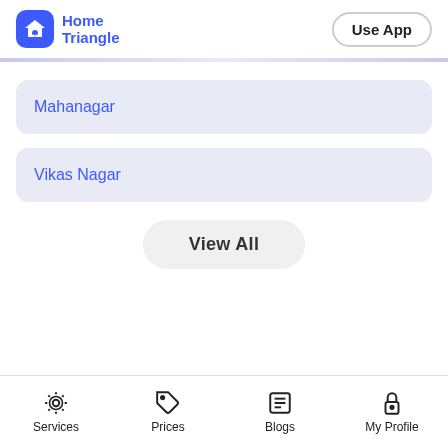Home Triangle | Use App
Mahanagar
Vikas Nagar
View All
Services | Prices | Blogs | My Profile